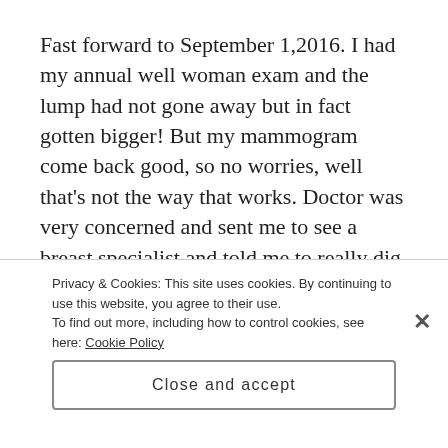Fast forward to September 1,2016. I had my annual well woman exam and the lump had not gone away but in fact gotten bigger! But my mammogram come back good, so no worries, well that's not the way that works. Doctor was very concerned and sent me to see a breast specialist and told me to really dig into my family history and that I should
Privacy & Cookies: This site uses cookies. By continuing to use this website, you agree to their use. To find out more, including how to control cookies, see here: Cookie Policy
Close and accept